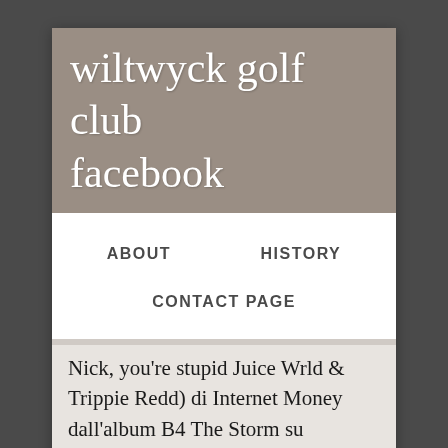wiltwyck golf club facebook
ABOUT    HISTORY    CONTACT PAGE
Nick, you're stupid Juice Wrld & Trippie Redd) di Internet Money dall'album B4 The Storm su Rockol.it. Chorus: Trippie Redd Baby, come and have a blast with me Do everything I say like your majesty Fuck with the gang and it be a